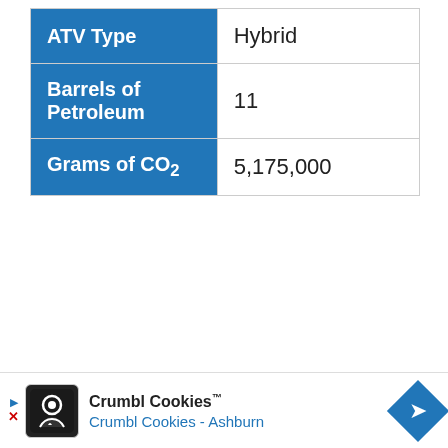|  |  |
| --- | --- |
| ATV Type | Hybrid |
| Barrels of Petroleum | 11 |
| Grams of CO₂ | 5,175,000 |
Crumbl Cookies™ — Crumbl Cookies - Ashburn (advertisement)